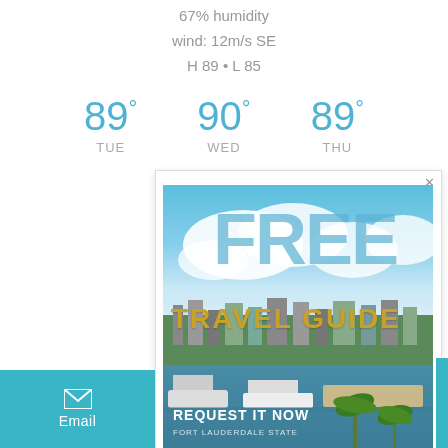67% humidity
wind: 12m/s SE
H 89 • L 85
[Figure (infographic): Three-day weather forecast showing TUE 89°, WED 90°, THU 89° in blue text]
[Figure (infographic): Advertisement overlay for Free Travel Guide - Fort Lauderdale, showing aerial photo of waterway with boats and city skyline, 'FREE' in large transparent blue letters, 'TRAVEL GUIDE' in gold, 'REQUEST IT NOW' and 'FORT LAUDERDALE STATE' at bottom]
Email